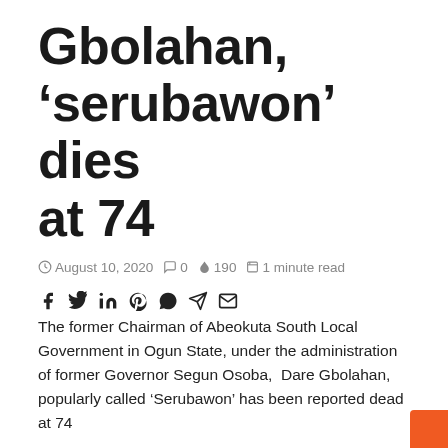Gbolahan, ‘serubawon’ dies at 74
© August 10, 2020  💬 0  🔥 190  📖 1 minute read
[Figure (infographic): Social media share icons: Facebook, Twitter, LinkedIn, Pinterest, WhatsApp, Telegram, Email]
The former Chairman of Abeokuta South Local Government in Ogun State, under the administration of former Governor Segun Osoba,  Dare Gbolahan, popularly called ‘Serubawon’ has been reported dead at 74
Penpushing reports that, Chairman, Transition Committee, Abeokuta South Local Government, Ayodeji Shomide